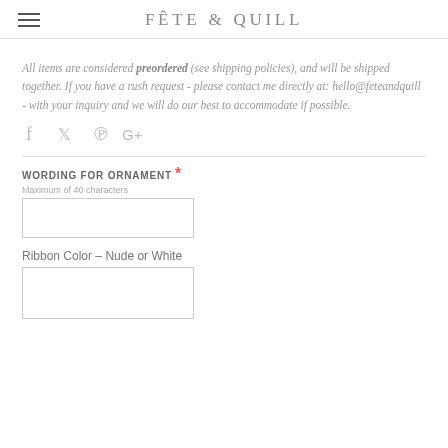FÊTE & QUILL
All items are considered preordered (see shipping policies), and will be shipped together. If you have a rush request - please contact me directly at: hello@feteandquill - with your inquiry and we will do our best to accommodate if possible.
[Figure (other): Social media icons: Facebook, Twitter, Pinterest, Google+]
WORDING FOR ORNAMENT *
Maximum of 40 characters
[Figure (other): Text input box for wording]
Ribbon Color - Nude or White
[Figure (other): Text input box for ribbon color]